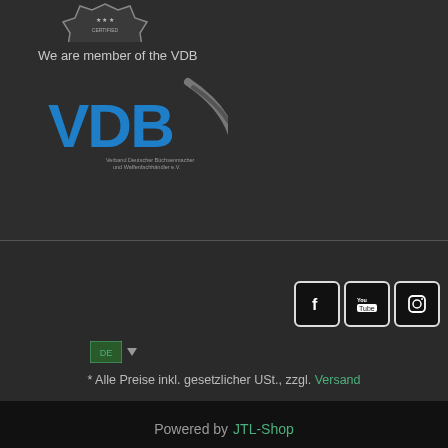[Figure (logo): Badge/seal logo at top of page]
We are member of the VDB
[Figure (logo): VDB logo - Verband Deutscher Büchsenmacher und Waffenfachhändler e.V. - blue text with grey swoosh]
[Figure (logo): Social media icons: Facebook, YouTube, Instagram]
[Figure (logo): Flag/language selector icon with dropdown arrow]
* Alle Preise inkl. gesetzlicher USt., zzgl. Versand
Powered by JTL-Shop